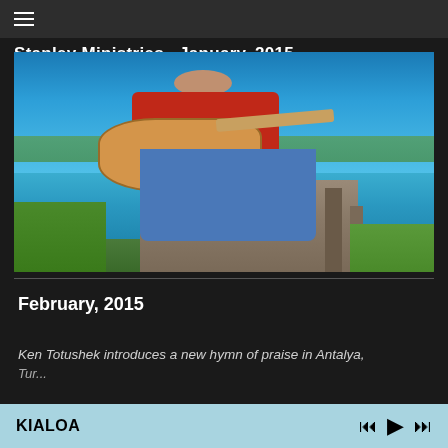≡ Stanley Ministries,  January, 2015
[Figure (photo): Man in red shirt sitting on a wooden dock playing an acoustic guitar, with blue sky and water in the background, green grass in foreground.]
February, 2015
Ken Totushek introduces a new hymn of praise in Antalya,
KIALOA  ⏮ ▶ ⏭